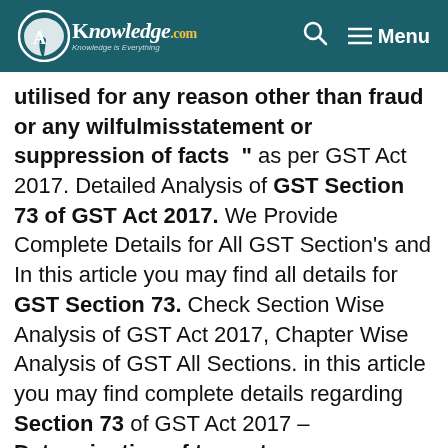[Figure (logo): CAknowledge.com website header with teal background, logo on left and search/menu icons on right]
utilised for any reason other than fraud or any wilfulmisstatement or suppression of facts " as per GST Act 2017. Detailed Analysis of GST Section 73 of GST Act 2017. We Provide Complete Details for All GST Section's and In this article you may find all details for GST Section 73. Check Section Wise Analysis of GST Act 2017, Chapter Wise Analysis of GST All Sections. in this article you may find complete details regarding Section 73 of GST Act 2017 – Determination of tax not